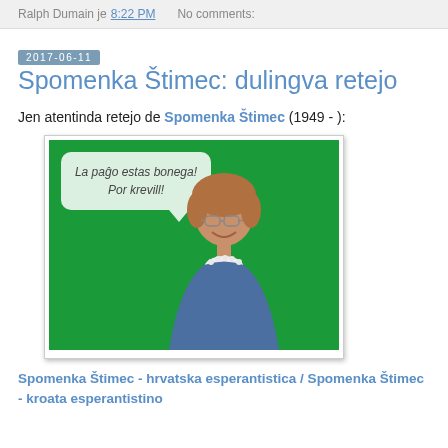Ralph Dumain je 8:22 PM   No comments:
Spomenka Štimec: dulingva retejo
Jen atentinda retejo de Spomenka Štimec (1949 - ):
[Figure (photo): Photo of a smiling woman in a blue blazer with a pearl necklace on a green background, with a speech bubble saying 'La paĝo estas bonega! Por krevill!']
Spomenka Štimec - hrvatska esperantistica / Spomenka Štimec - kroata esperantistino